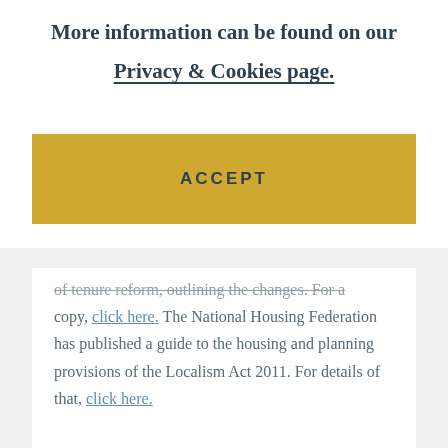More information can be found on our Privacy & Cookies page.
ACCEPT
of tenure reform, outlining the changes. For a copy, click here. The National Housing Federation has published a guide to the housing and planning provisions of the Localism Act 2011. For details of that, click here.